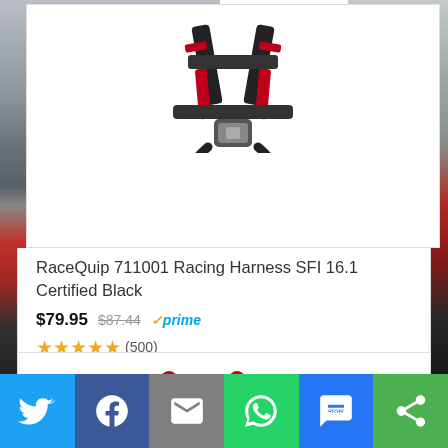[Figure (photo): Background photo of a red classic Ferrari car with alpine mountain scenery, shown on both left and right sides]
[Figure (photo): Product image of RaceQuip 711001 racing harness in black with red accents]
RaceQuip 711001 Racing Harness SFI 16.1 Certified Black
$79.95 $87.44 prime (500)
[Figure (photo): Product image of VP Racing Fuels 5 Gallon Square containers, four white jugs with red caps and vented tubes]
VP Racing Fuels 5 Gallon Square
[Figure (screenshot): Share button bar at bottom with Twitter, Facebook, Email, WhatsApp, SMS, and another share option icons]